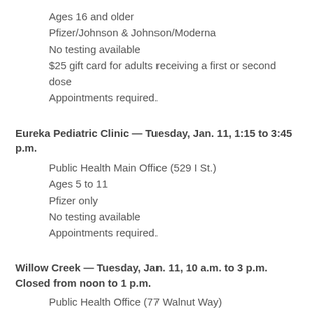Ages 16 and older
Pfizer/Johnson & Johnson/Moderna
No testing available
$25 gift card for adults receiving a first or second dose
Appointments required.
Eureka Pediatric Clinic — Tuesday, Jan. 11, 1:15 to 3:45 p.m.
Public Health Main Office (529 I St.)
Ages 5 to 11
Pfizer only
No testing available
Appointments required.
Willow Creek — Tuesday, Jan. 11, 10 a.m. to 3 p.m. Closed from noon to 1 p.m.
Public Health Office (77 Walnut Way)
Pfizer/Johnson & Johnson/Moderna
PCR and rapid testing available
$25 gift card for adults receiving a first or second dose